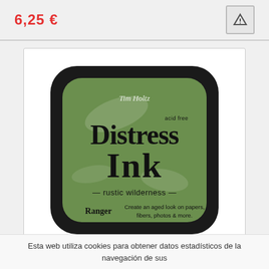6,25 €
[Figure (photo): Ranger Tim Holtz Distress Ink pad in 'Rustic Wilderness' color. Square black ink pad with rounded corners, green ink pad surface showing the brand name 'Distress Ink' in distressed lettering, 'acid free' text, Tim Holtz signature, Ranger logo, color name '— rustic wilderness —', and tagline 'Create an aged look on papers, fibers, photos & more.']
Esta web utiliza cookies para obtener datos estadísticos de la navegación de sus